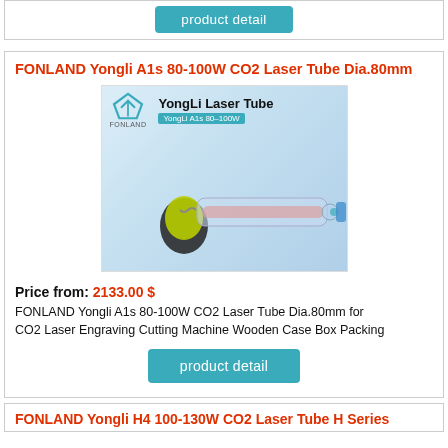[Figure (other): Product detail button at top of page (teal/cyan rounded rectangle button labeled 'product detail')]
FONLAND Yongli A1s 80-100W CO2 Laser Tube Dia.80mm
[Figure (photo): Product image of YongLi Laser Tube - YongLi A1s 80-100W, showing a glass CO2 laser tube with FONLAND branding logo on light blue background]
Price from: 2133.00 $
FONLAND Yongli A1s 80-100W CO2 Laser Tube Dia.80mm for CO2 Laser Engraving Cutting Machine Wooden Case Box Packing
[Figure (other): Product detail button (teal/cyan rounded rectangle button labeled 'product detail')]
FONLAND Yongli H4 100-130W CO2 Laser Tube H Series